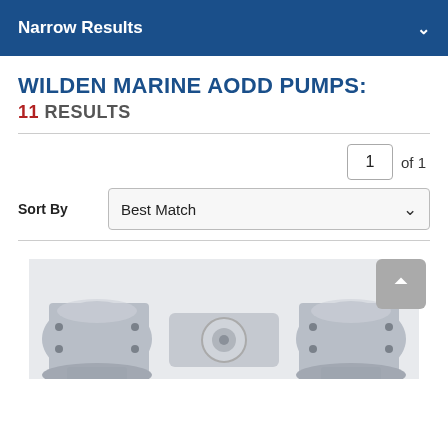Narrow Results
WILDEN MARINE AODD PUMPS:
11 RESULTS
1 of 1
Sort By  Best Match
[Figure (photo): Close-up photo of a metallic marine AODD pump component, partially visible at the bottom of the page.]